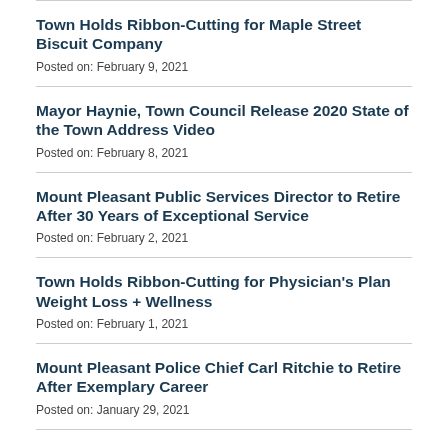Town Holds Ribbon-Cutting for Maple Street Biscuit Company
Posted on: February 9, 2021
Mayor Haynie, Town Council Release 2020 State of the Town Address Video
Posted on: February 8, 2021
Mount Pleasant Public Services Director to Retire After 30 Years of Exceptional Service
Posted on: February 2, 2021
Town Holds Ribbon-Cutting for Physician's Plan Weight Loss + Wellness
Posted on: February 1, 2021
Mount Pleasant Police Chief Carl Ritchie to Retire After Exemplary Career
Posted on: January 29, 2021